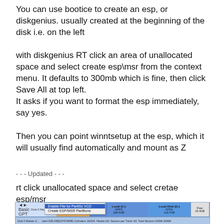You can use bootice to create an esp, or diskgenius. usually created at the beginning of the disk i.e. on the left
with diskgenius RT click an area of unallocated space and select create esp\msr from the context menu. It defaults to 300mb which is fine, then click Save All at top left.
It asks if you want to format the esp immediately, say yes.
Then you can point winntsetup at the esp, which it will usually find automatically and mount as Z
- - - Updated - - -
rt click unallocated space and select cretae esp/msr
[Figure (screenshot): Screenshot of DiskGenius partition manager showing disk partitions (NTFS, NTFS 200GB, NTFS Local Disk, and Free space) with a right-click context menu open showing options including 'Create ESP/MSR Partitions']